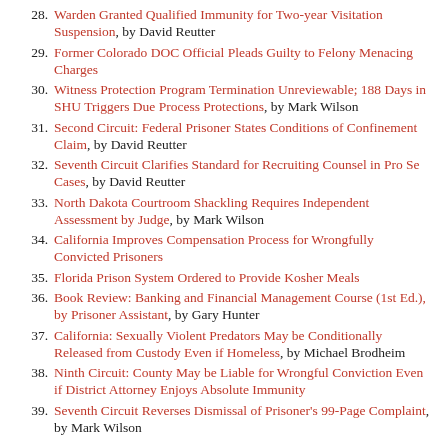28. Warden Granted Qualified Immunity for Two-year Visitation Suspension, by David Reutter
29. Former Colorado DOC Official Pleads Guilty to Felony Menacing Charges
30. Witness Protection Program Termination Unreviewable; 188 Days in SHU Triggers Due Process Protections, by Mark Wilson
31. Second Circuit: Federal Prisoner States Conditions of Confinement Claim, by David Reutter
32. Seventh Circuit Clarifies Standard for Recruiting Counsel in Pro Se Cases, by David Reutter
33. North Dakota Courtroom Shackling Requires Independent Assessment by Judge, by Mark Wilson
34. California Improves Compensation Process for Wrongfully Convicted Prisoners
35. Florida Prison System Ordered to Provide Kosher Meals
36. Book Review: Banking and Financial Management Course (1st Ed.), by Prisoner Assistant, by Gary Hunter
37. California: Sexually Violent Predators May be Conditionally Released from Custody Even if Homeless, by Michael Brodheim
38. Ninth Circuit: County May be Liable for Wrongful Conviction Even if District Attorney Enjoys Absolute Immunity
39. Seventh Circuit Reverses Dismissal of Prisoner's 99-Page Complaint, by Mark Wilson